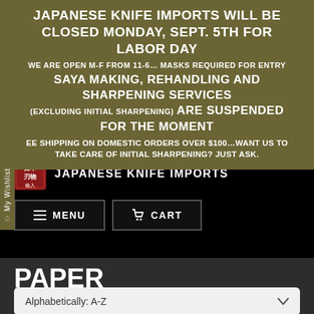JAPANESE KNIFE IMPORTS WILL BE CLOSED MONDAY, SEPT. 5TH FOR LABOR DAY
WE ARE OPEN M-F FROM 11-6… MASKS REQUIRED FOR ENTRY
SAYA MAKING, REHANDLING AND SHARPENING SERVICES (EXCLUDING INITIAL SHARPENING) ARE SUSPENDED FOR THE MOMENT
EE SHIPPING ON DOMESTIC ORDERS OVER $100…WANT US TO TAKE CARE OF INITIAL SHARPENING? JUST ASK.
[Figure (logo): Japanese Knife Imports logo with red seal stamp and text]
PAPER KNIVES/CRAFT KNIVES
Alphabetically: A-Z